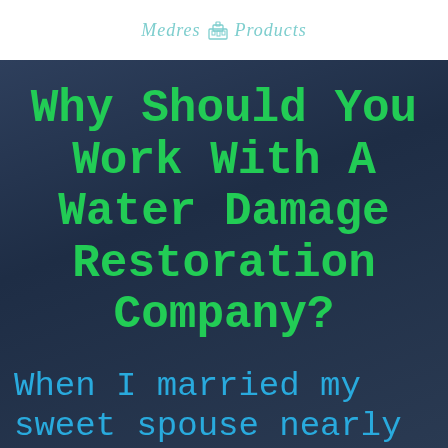Medres Products
Why Should You Work With A Water Damage Restoration Company?
When I married my sweet spouse nearly twelve years ago, I